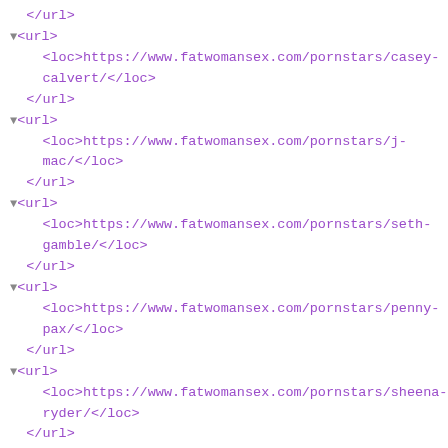XML sitemap code showing URL entries for fatwomansex.com pornstars pages including casey-calvert, j-mac, seth-gamble, penny-pax, sheena-ryder, keisha-grey, shane-diesel